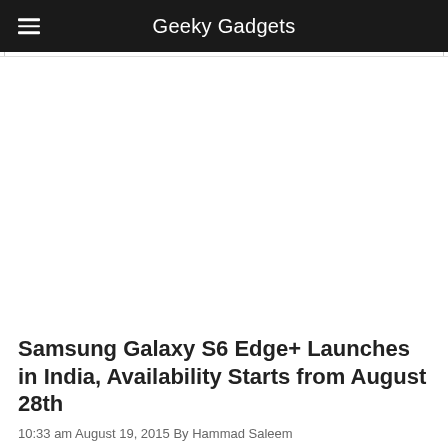Geeky Gadgets
[Figure (photo): Empty white image area placeholder for article featured image]
Samsung Galaxy S6 Edge+ Launches in India, Availability Starts from August 28th
10:33 am August 19, 2015 By Hammad Saleem